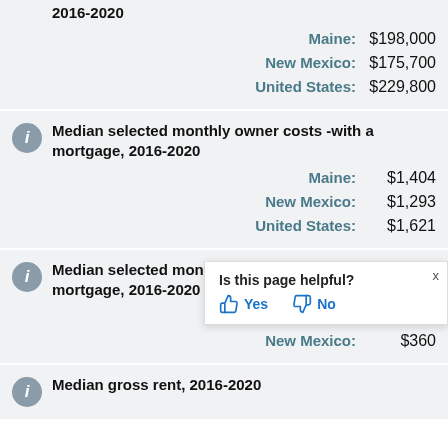2016-2020
Maine: $198,000
New Mexico: $175,700
United States: $229,800
Median selected monthly owner costs -with a mortgage, 2016-2020
Maine: $1,404
New Mexico: $1,293
United States: $1,621
Median selected monthly owner costs -without a mortgage, 2016-2020
Maine: $500
New Mexico: $360
Median gross rent, 2016-2020
Is this page helpful? Yes No